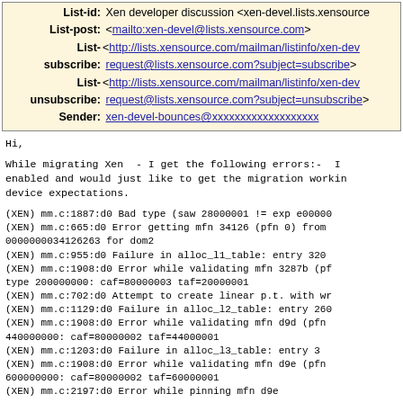List-id: Xen developer discussion <xen-devel.lists.xensource
List-post: <mailto:xen-devel@lists.xensource.com>
List- <http://lists.xensource.com/mailman/listinfo/xen-dev
subscribe: request@lists.xensource.com?subject=subscribe>
List- <http://lists.xensource.com/mailman/listinfo/xen-dev
unsubscribe: request@lists.xensource.com?subject=unsubscribe>
Sender: xen-devel-bounces@xxxxxxxxxxxxxxxxxxx
Hi,
While migrating Xen  - I get the following errors:-  I enabled and would just like to get the migration workin device expectations.
(XEN) mm.c:1887:d0 Bad type (saw 28000001 != exp e00000
(XEN) mm.c:665:d0 Error getting mfn 34126 (pfn 0) from
0000000034126263 for dom2
(XEN) mm.c:955:d0 Failure in alloc_l1_table: entry 320
(XEN) mm.c:1908:d0 Error while validating mfn 3287b (pf
type 200000000: caf=80000003 taf=20000001
(XEN) mm.c:702:d0 Attempt to create linear p.t. with wr
(XEN) mm.c:1129:d0 Failure in alloc_l2_table: entry 260
(XEN) mm.c:1908:d0 Error while validating mfn d9d (pfn
440000000: caf=80000002 taf=44000001
(XEN) mm.c:1203:d0 Failure in alloc_l3_table: entry 3
(XEN) mm.c:1908:d0 Error while validating mfn d9e (pfn
600000000: caf=80000002 taf=60000001
(XEN) mm.c:2197:d0 Error while pinning mfn d9e